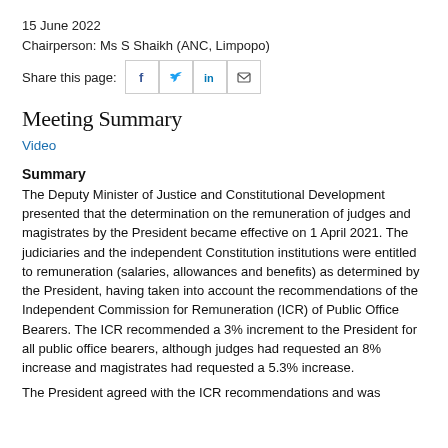15 June 2022
Chairperson: Ms S Shaikh (ANC, Limpopo)
Share this page:
Meeting Summary
Video
Summary
The Deputy Minister of Justice and Constitutional Development presented that the determination on the remuneration of judges and magistrates by the President became effective on 1 April 2021. The judiciaries and the independent Constitution institutions were entitled to remuneration (salaries, allowances and benefits) as determined by the President, having taken into account the recommendations of the Independent Commission for Remuneration (ICR) of Public Office Bearers. The ICR recommended a 3% increment to the President for all public office bearers, although judges had requested an 8% increase and magistrates had requested a 5.3% increase.
The President agreed with the ICR recommendations and was